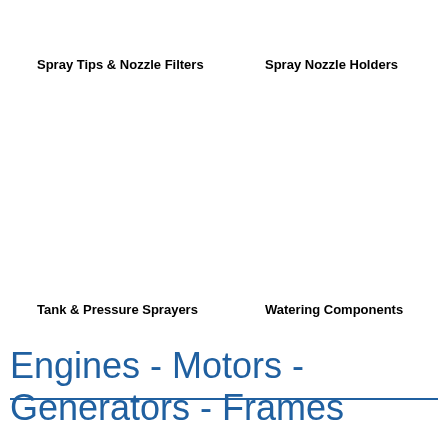Spray Tips & Nozzle Filters
Spray Nozzle Holders
Tank & Pressure Sprayers
Watering Components
Engines - Motors - Generators - Frames